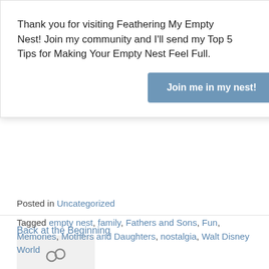Thank you for visiting Feathering My Empty Nest! Join my community and I'll send my Top 5 Tips for Making Your Empty Nest Feel Full.
Join me in my nest!
Back at the Beginning
April 14, 2018
In "Amelia Island"
[Figure (other): Gray placeholder box with a chain/link icon]
Posted in Uncategorized
Tagged empty nest, family, Fathers and Sons, Fun, Memories, Mothers and Daughters, nostalgia, Walt Disney World